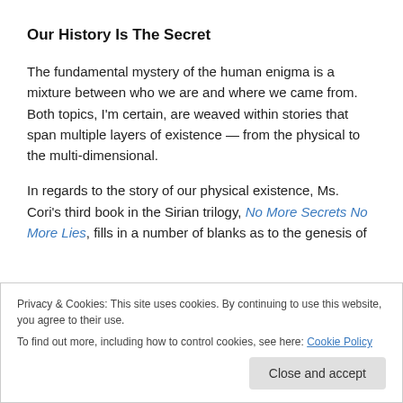Our History Is The Secret
The fundamental mystery of the human enigma is a mixture between who we are and where we came from. Both topics, I'm certain, are weaved within stories that span multiple layers of existence — from the physical to the multi-dimensional.
In regards to the story of our physical existence, Ms. Cori's third book in the Sirian trilogy, No More Secrets No More Lies, fills in a number of blanks as to the genesis of
Privacy & Cookies: This site uses cookies. By continuing to use this website, you agree to their use.
To find out more, including how to control cookies, see here: Cookie Policy
Close and accept